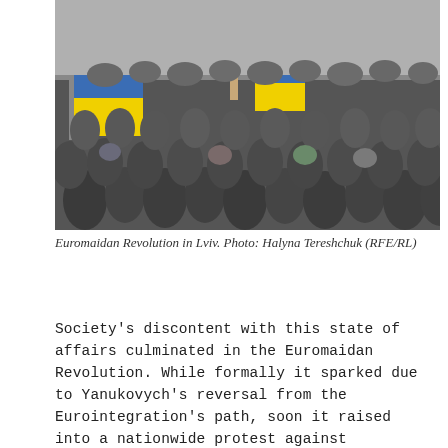[Figure (photo): Large crowd of protesters at the Euromaidan Revolution in Lviv, with Ukrainian blue and yellow flags visible in the crowd.]
Euromaidan Revolution in Lviv. Photo: Halyna Tereshchuk (RFE/RL)
Society's discontent with this state of affairs culminated in the Euromaidan Revolution. While formally it sparked due to Yanukovych's reversal from the Eurointegration's path, soon it raised into a nationwide protest against Yanukovych's regime in general.